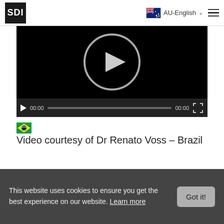SDI | AU-English
[Figure (screenshot): Video player with black background showing a play button circle in the center, and a control bar at the bottom with play button, time 00:00, progress bar, duration 00:00, and fullscreen button.]
🇧🇷 Video courtesy of Dr Renato Voss – Brazil
This website uses cookies to ensure you get the best experience on our website. Learn more Got it!